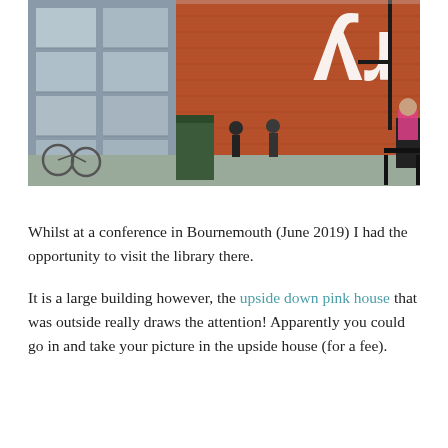[Figure (photo): Exterior photograph of Bournemouth Library showing a modern glass and brick building with a red brick wall displaying partial white lettering 'ry' (part of 'Library'). People and bicycles visible near the entrance.]
Whilst at a conference in Bournemouth (June 2019) I had the opportunity to visit the library there.
It is a large building however, the upside down pink house that was outside really draws the attention! Apparently you could go in and take your picture in the upside house (for a fee).